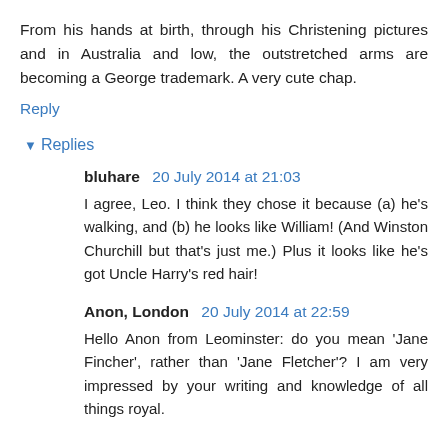From his hands at birth, through his Christening pictures and in Australia and low, the outstretched arms are becoming a George trademark. A very cute chap.
Reply
▼ Replies
bluhare  20 July 2014 at 21:03
I agree, Leo. I think they chose it because (a) he's walking, and (b) he looks like William! (And Winston Churchill but that's just me.) Plus it looks like he's got Uncle Harry's red hair!
Anon, London  20 July 2014 at 22:59
Hello Anon from Leominster: do you mean 'Jane Fincher', rather than 'Jane Fletcher'? I am very impressed by your writing and knowledge of all things royal.